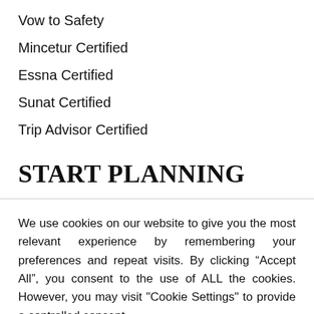Vow to Safety
Mincetur Certified
Essna Certified
Sunat Certified
Trip Advisor Certified
START PLANNING
We use cookies on our website to give you the most relevant experience by remembering your preferences and repeat visits. By clicking “Accept All”, you consent to the use of ALL the cookies. However, you may visit "Cookie Settings" to provide a controlled consent.